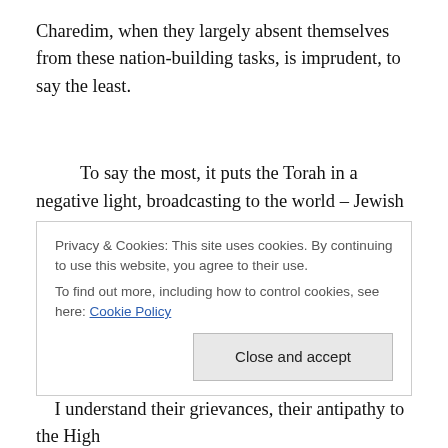Charedim, when they largely absent themselves from these nation-building tasks, is imprudent, to say the least.
To say the most, it puts the Torah in a negative light, broadcasting to the world – Jewish and general – that the Torah is incompatible with life in a modern state. It says, in essence, that a modern state cannot defend itself or support itself according to the laws of the Torah, and the
Privacy & Cookies: This site uses cookies. By continuing to use this website, you agree to their use.
To find out more, including how to control cookies, see here: Cookie Policy
Close and accept
I understand their grievances, their antipathy to the High